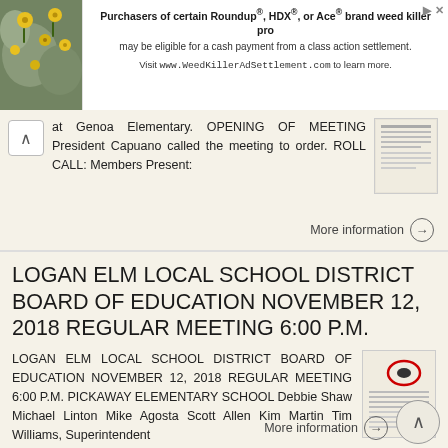[Figure (other): Advertisement banner: photo of yellow flowers on left, text about Roundup/HDX/Ace weed killer class action settlement on right with link to WeedKillerAdSettlement.com]
at Genoa Elementary. OPENING OF MEETING President Capuano called the meeting to order. ROLL CALL: Members Present:
More information →
LOGAN ELM LOCAL SCHOOL DISTRICT BOARD OF EDUCATION NOVEMBER 12, 2018 REGULAR MEETING 6:00 P.M.
LOGAN ELM LOCAL SCHOOL DISTRICT BOARD OF EDUCATION NOVEMBER 12, 2018 REGULAR MEETING 6:00 P.M. PICKAWAY ELEMENTARY SCHOOL Debbie Shaw Michael Linton Mike Agosta Scott Allen Kim Martin Tim Williams, Superintendent
More information →